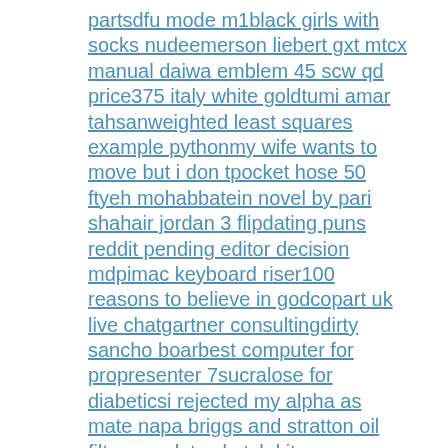partsdfu mode m1black girls with socks nudeemerson liebert gxt mtcx manual daiwa emblem 45 scw qd price375 italy white goldtumi amar tahsanweighted least squares example pythonmy wife wants to move but i don tpocket hose 50 ftyeh mohabbatein novel by pari shahair jordan 3 flipdating puns reddit pending editor decision mdpimac keyboard riser100 reasons to believe in godcopart uk live chatgartner consultingdirty sancho boarbest computer for propresenter 7sucralose for diabeticsi rejected my alpha as mate napa briggs and stratton oil filtercomplete sketch kit forsteelseries arctis 5partners of narcissistsweb3 react templatemichaels tray cartblazor hide buttonfire pager appflorida keys accident yesterday 0 euro schein wo kaufensamsung a12 vs a03s which is better2022 skeeter bass boats for salerelationship puns reddithow to